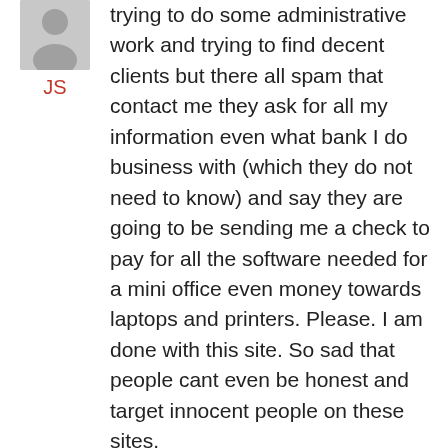[Figure (illustration): Gray placeholder avatar icon (person silhouette, cropped at top)]
JS
trying to do some administrative work and trying to find decent clients but there all spam that contact me they ask for all my information even what bank I do business with (which they do not need to know) and say they are going to be sending me a check to pay for all the software needed for a mini office even money towards laptops and printers. Please. I am done with this site. So sad that people cant even be honest and target innocent people on these sites.
↳ Reply
[Figure (illustration): Gray placeholder avatar icon (person silhouette, full)]
July 8, 2016 at 12:58 pm
ok what happened with this bc